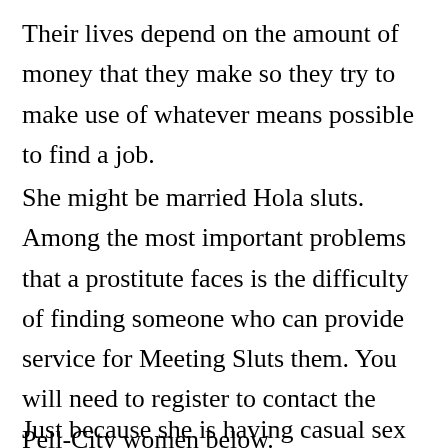Their lives depend on the amount of money that they make so they try to make use of whatever means possible to find a job.
She might be married Hola sluts. Among the most important problems that a prostitute faces is the difficulty of finding someone who can provide service for Meeting Sluts them. You will need to register to contact the Pell-City women below.
Just because she is having casual sex with